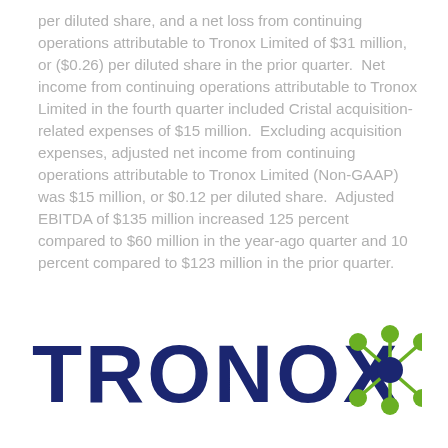per diluted share, and a net loss from continuing operations attributable to Tronox Limited of $31 million, or ($0.26) per diluted share in the prior quarter.  Net income from continuing operations attributable to Tronox Limited in the fourth quarter included Cristal acquisition-related expenses of $15 million.  Excluding acquisition expenses, adjusted net income from continuing operations attributable to Tronox Limited (Non-GAAP) was $15 million, or $0.12 per diluted share.  Adjusted EBITDA of $135 million increased 125 percent compared to $60 million in the year-ago quarter and 10 percent compared to $123 million in the prior quarter.
[Figure (logo): Tronox logo: dark navy bold wordmark 'TRONOX' with a green and navy molecular/network icon to the right]